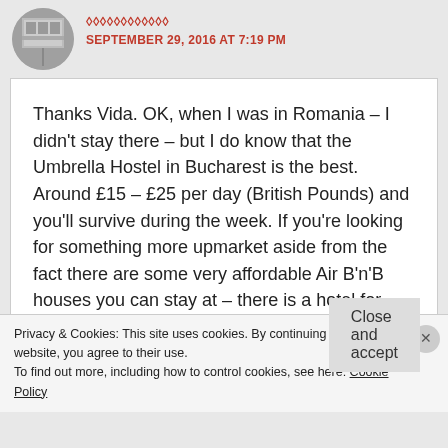SEPTEMBER 29, 2016 AT 7:19 PM
Thanks Vida. OK, when I was in Romania – I didn't stay there – but I do know that the Umbrella Hostel in Bucharest is the best. Around £15 – £25 per day (British Pounds) and you'll survive during the week. If you're looking for something more upmarket aside from the fact there are some very affordable Air B'n'B houses you can stay at – there is a hotel for everyone. Epoque and Grand Continental Hotel
Privacy & Cookies: This site uses cookies. By continuing to use this website, you agree to their use.
To find out more, including how to control cookies, see here: Cookie Policy
Close and accept